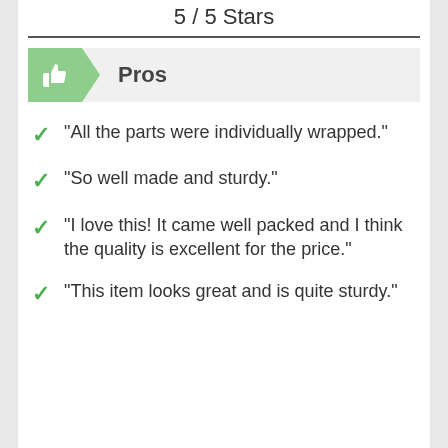5 / 5 Stars
Pros
"All the parts were individually wrapped."
"So well made and sturdy."
"I love this! It came well packed and I think the quality is excellent for the price."
"This item looks great and is quite sturdy."